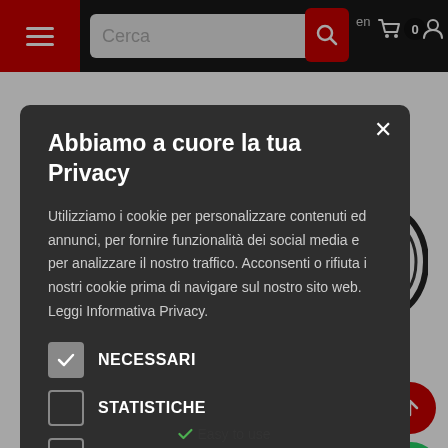[Figure (screenshot): Website navigation bar with hamburger menu, search box, search button, language selector (en), shopping cart with 0 items, and user account icon on dark background with red accents.]
[Figure (screenshot): Website background showing a metal detector coil product image on white background, a red scroll-up button, and a green WhatsApp chat button.]
Abbiamo a cuore la tua Privacy
Utilizziamo i cookie per personalizzare contenuti ed annunci, per fornire funzionalità dei social media e per analizzare il nostro traffico. Acconsenti o rifiuta i nostri cookie prima di navigare sul nostro sito web. Leggi Informativa Privacy.
NECESSARI
STATISTICHE
MARKETING
ACCETTA TUTTI
RIFIUTA
MAGGIORI DETTAGLI SUI COOKIE
Easy to use